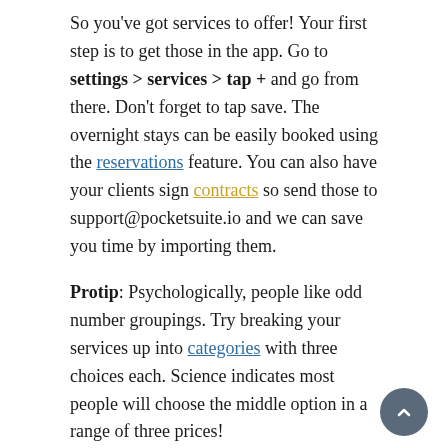So you've got services to offer! Your first step is to get those in the app. Go to settings > services > tap + and go from there. Don't forget to tap save. The overnight stays can be easily booked using the reservations feature. You can also have your clients sign contracts so send those to support@pocketsuite.io and we can save you time by importing them.
Protip: Psychologically, people like odd number groupings. Try breaking your services up into categories with three choices each. Science indicates most people will choose the middle option in a range of three prices!
2. Add some clients
Add your clients by tapping the client icon in the top right corner of the app, go to settings > data import to add from your phone list, or email us your contact list to support@pocketsuite.io. For the messages you send often, add them to your saved messages list to easily send them